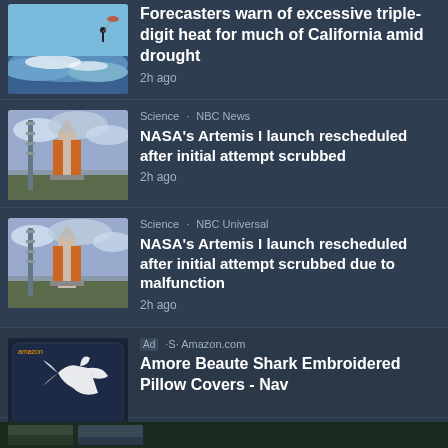Forecasters warn of excessive triple-digit heat for much of California amid drought · 2h ago
Science · NBC News · NASA's Artemis I launch rescheduled after initial attempt scrubbed · 2h ago
Science · NBC Universal · NASA's Artemis I launch rescheduled after initial attempt scrubbed due to malfunction · 2h ago
Ad · Amazon.com · Amore Beaute Shark Embroidered Pillow Covers - Nav